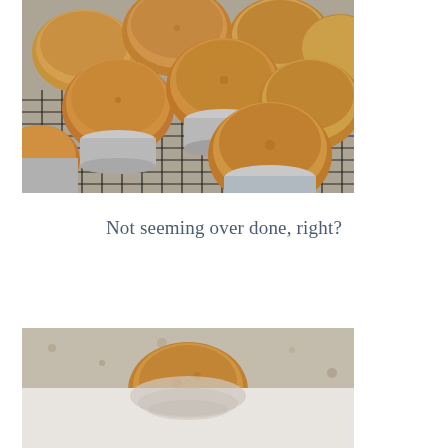[Figure (photo): Multiple golden-brown muffins in silver foil cups cooling on a black wire rack on a granite countertop, viewed from above at an angle.]
Not seeming over done, right?
[Figure (photo): Close-up of a muffin on a granite countertop, partially cut, showing the interior texture.]